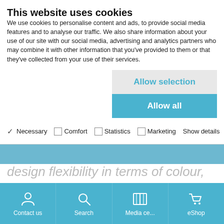This website uses cookies
We use cookies to personalise content and ads, to provide social media features and to analyse our traffic. We also share information about your use of our site with our social media, advertising and analytics partners who may combine it with other information that you've provided to them or that they've collected from your use of their services.
Allow selection
Allow all
✓ Necessary   Comfort   Statistics   Marketing   Show details
design flexibility in terms of colour, shape and material, giving you the key to successfully turning your own furniture design ideas into reality. Give your furniture unmistakable character and respond quickly to the latest design trends
[Figure (infographic): Bottom navigation bar with icons for Contact us, Search, Media centre, and eShop on a blue background]